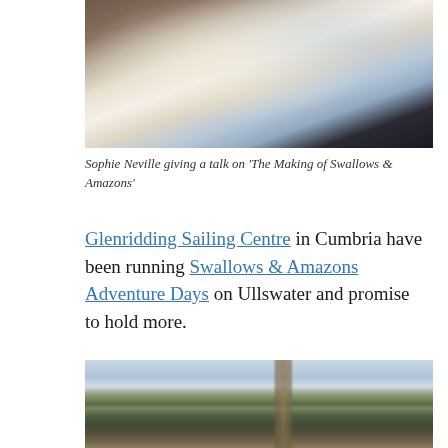[Figure (photo): Sophie Neville giving a talk on 'The Making of Swallows & Amazons' — indoor scene with projected image and fabric/curtain visible]
Sophie Neville giving a talk on 'The Making of Swallows & Amazons'
Glenridding Sailing Centre in Cumbria have been running Swallows & Amazons Adventure Days on Ullswater and promise to hold more.
[Figure (photo): Outdoor sailing/lake scene with two people visible, a wooden mast pole, trees and clouds in background — likely on Ullswater]